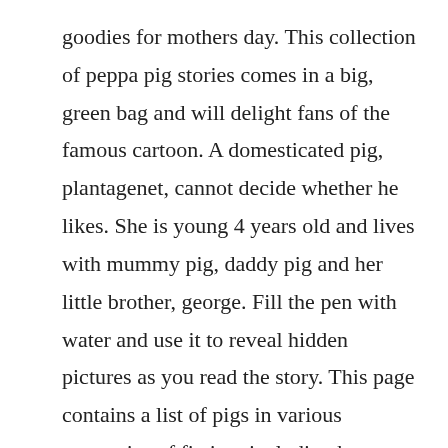goodies for mothers day. This collection of peppa pig stories comes in a big, green bag and will delight fans of the famous cartoon. A domesticated pig, plantagenet, cannot decide whether he likes. She is young 4 years old and lives with mummy pig, daddy pig and her little brother, george. Fill the pen with water and use it to reveal hidden pictures as you read the story. This page contains a list of pigs in various categories of fiction, including boars and warthogs. With bright and bold artwork in every book and the.